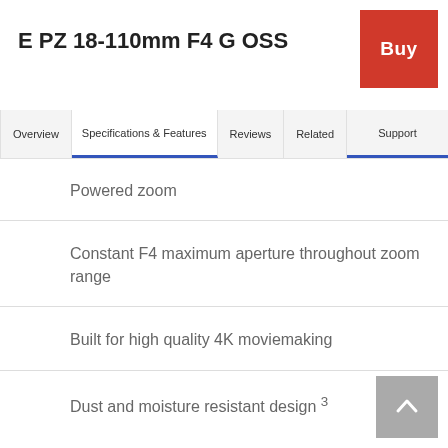E PZ 18-110mm F4 G OSS
Overview | Specifications & Features | Reviews | Related | Support
Powered zoom
Constant F4 maximum aperture throughout zoom range
Built for high quality 4K moviemaking
Dust and moisture resistant design 3